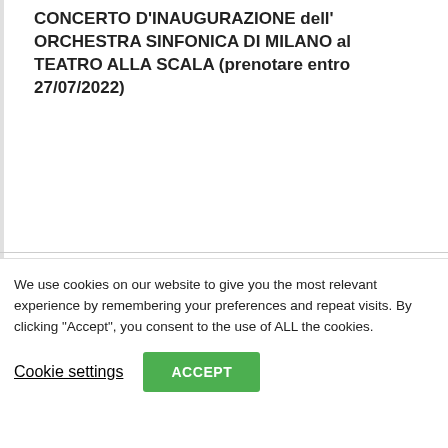CONCERTO D'INAUGURAZIONE dell'ORCHESTRA SINFONICA DI MILANO al TEATRO ALLA SCALA (prenotare entro 27/07/2022)
Friday September 23
08:00
Friday 23rd September – ART & MIXOLOGY with aperitif
We use cookies on our website to give you the most relevant experience by remembering your preferences and repeat visits. By clicking "Accept", you consent to the use of ALL the cookies.
Cookie settings
ACCEPT